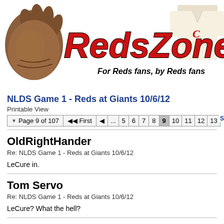[Figure (logo): RedsZone website banner with baseball glove on left, large red italic 'RedsZone' text in center, vintage baseball jersey on right, tagline 'For Reds fans, by Reds fans' below]
NLDS Game 1 - Reds at Giants 10/6/12
Printable View
Page 9 of 107  First  ...  5  6  7  8  9  10  11  12  13
OldRightHander
Re: NLDS Game 1 - Reds at Giants 10/6/12
LeCure in.
Tom Servo
Re: NLDS Game 1 - Reds at Giants 10/6/12
LeCure? What the hell?
BoydsOfSummer